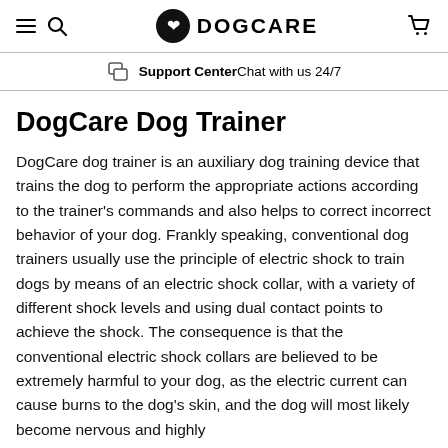DOGCARE — Support Center Chat with us 24/7
DogCare Dog Trainer
DogCare dog trainer is an auxiliary dog training device that trains the dog to perform the appropriate actions according to the trainer's commands and also helps to correct incorrect behavior of your dog. Frankly speaking, conventional dog trainers usually use the principle of electric shock to train dogs by means of an electric shock collar, with a variety of different shock levels and using dual contact points to achieve the shock. The consequence is that the conventional electric shock collars are believed to be extremely harmful to your dog, as the electric current can cause burns to the dog's skin, and the dog will most likely become nervous and highly